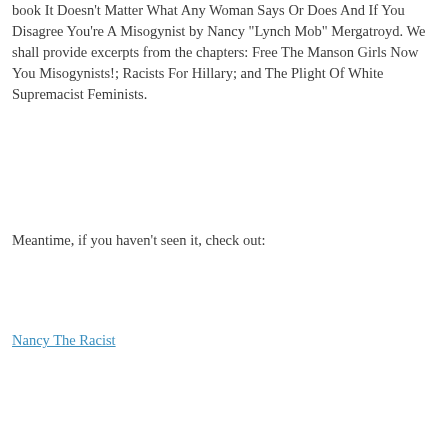book It Doesn't Matter What Any Woman Says Or Does And If You Disagree You're A Misogynist by Nancy “Lynch Mob” Mergatroyd. We shall provide excerpts from the chapters: Free The Manson Girls Now You Misogynists!; Racists For Hillary; and The Plight Of White Supremacist Feminists.
Meantime, if you haven't seen it, check out:
Nancy The Racist